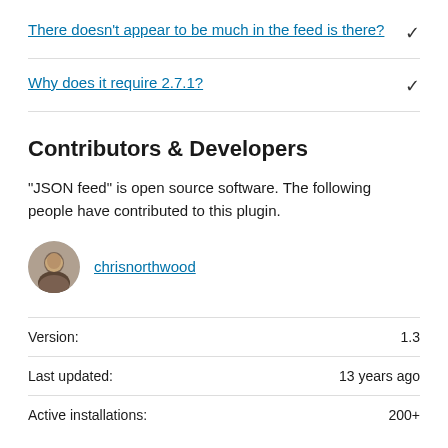There doesn't appear to be much in the feed is there?
Why does it require 2.7.1?
Contributors & Developers
"JSON feed" is open source software. The following people have contributed to this plugin.
chrisnorthwood
|  |  |
| --- | --- |
| Version: | 1.3 |
| Last updated: | 13 years ago |
| Active installations: | 200+ |